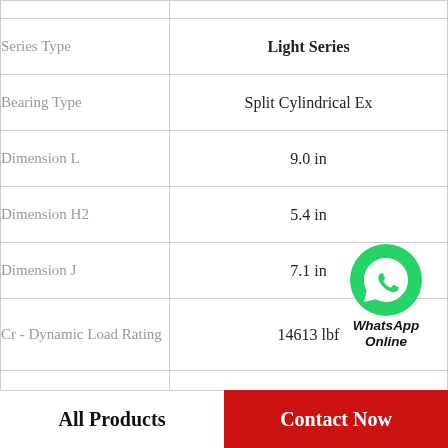| Property | Value |
| --- | --- |
|  |  |
| Series Type | Light Series |
| Bearing Type | Split Cylindrical Ex |
| Dimension L | 9.0 in |
| Dimension H2 | 5.4 in |
| Dimension J | 7.1 in |
| Cr - Dynamic Load Rating | 14613 lbf |
| Weight | 16 lb |
| Support Type | Two-Bolt Plummer Blo |
[Figure (logo): WhatsApp Online badge with green phone icon]
All Products   Contact Now